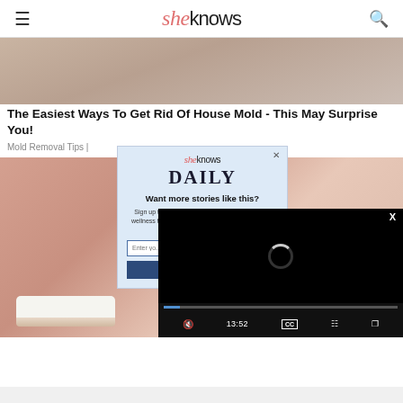sheknows
[Figure (photo): Cropped photo showing a person's neck/chin area against a light background]
The Easiest Ways To Get Rid Of House Mold - This May Surprise You!
Mold Removal Tips |
[Figure (photo): Close-up photo of a person's lower face showing teeth and chin area]
[Figure (screenshot): SheKnows Daily newsletter signup popup modal with headline 'Want more stories like this?' and email input field]
[Figure (screenshot): Video player overlay showing black screen with loading spinner, progress bar at 0, time 13:52, CC button, grid button, and fullscreen button]